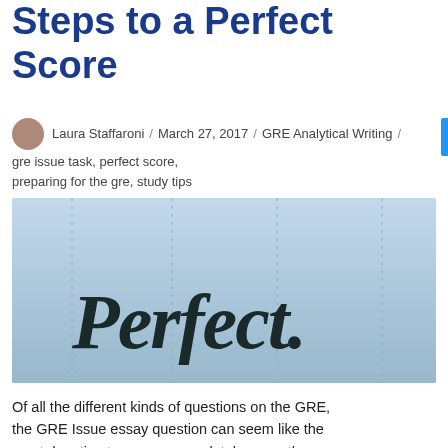Steps to a Perfect Score
Laura Staffaroni / March 27, 2017 / GRE Analytical Writing / gre issue task, perfect score, preparing for the gre, study tips
[Figure (photo): Light blue background with dotted vertical lines and the word 'Perfect.' written in large dark serif italic font]
Of all the different kinds of questions on the GRE, the GRE Issue essay question can seem like the most daunting to answer completely correctly